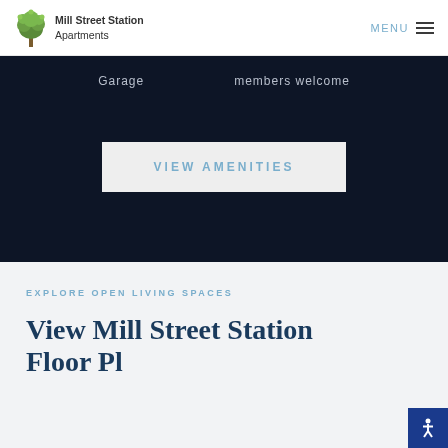Mill Street Station Apartments | MENU
Garage   members welcome
VIEW AMENITIES
EXPLORE OPEN LIVING SPACES
View Mill Street Station Floor Pl...